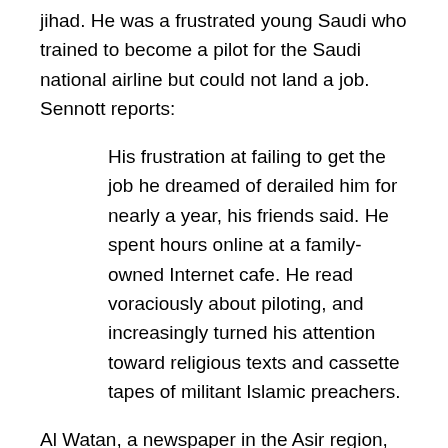jihad. He was a frustrated young Saudi who trained to become a pilot for the Saudi national airline but could not land a job. Sennott reports:
His frustration at failing to get the job he dreamed of derailed him for nearly a year, his friends said. He spent hours online at a family-owned Internet cafe. He read voraciously about piloting, and increasingly turned his attention toward religious texts and cassette tapes of militant Islamic preachers.
Al Watan, a newspaper in the Asir region, was far more probing than the mainstream press in its investigative reports on the local youth who joined the 9/11 plotters. It is to Sennott's credit to cite Al Watan's reporting and how bin Laden tapped into the deep-seated resentments of the Asiri tribes that were as ready to make war on Riyadh as